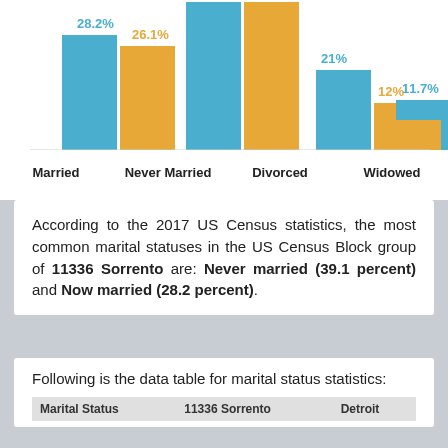[Figure (grouped-bar-chart): Marital Status Distribution]
According to the 2017 US Census statistics, the most common marital statuses in the US Census Block group of 11336 Sorrento are: Never married (39.1 percent) and Now married (28.2 percent).
Following is the data table for marital status statistics:
| Marital Status | 11336 Sorrento | Detroit |
| --- | --- | --- |